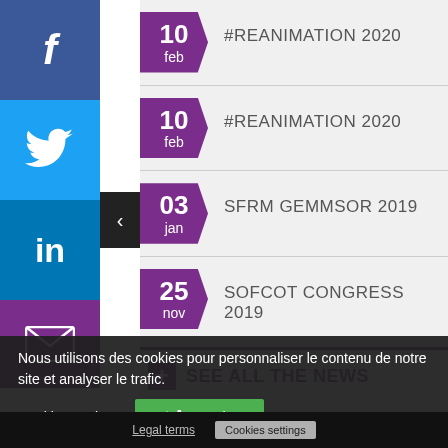10 feb — #REANIMATION 2020
10 feb — #REANIMATION 2020
03 jan — SFRM GEMMSOR 2019
25 nov — SOFCOT CONGRESS 2019
SEE ALL THE NEWS
Nous utilisons des cookies pour personnaliser le contenu de notre site et analyser le trafic.
Cookies settings | Legal terms | Cookies settings